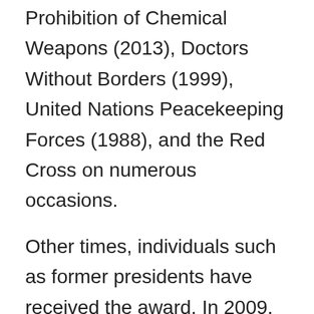Prohibition of Chemical Weapons (2013), Doctors Without Borders (1999), United Nations Peacekeeping Forces (1988), and the Red Cross on numerous occasions.
Other times, individuals such as former presidents have received the award. In 2009, Barack Obama received the award after only being president for less than nine months in office. Jimmy Carter was honored in 2002. In 1906, Theodore Roosevelt received the award for “having negotiated peace in the Russo-Japanese war.”  Roosevelt was the first national leader to receive recognition, and it